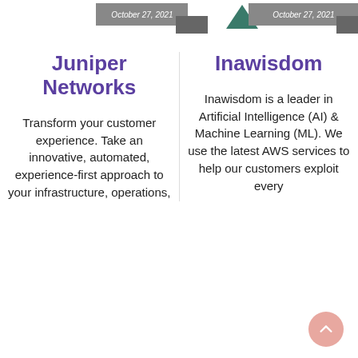October 27, 2021
October 27, 2021
Juniper Networks
Inawisdom
Transform your customer experience. Take an innovative, automated, experience-first approach to your infrastructure, operations,
Inawisdom is a leader in Artificial Intelligence (AI) & Machine Learning (ML). We use the latest AWS services to help our customers exploit every